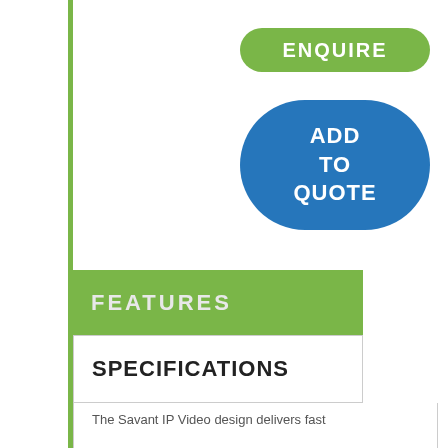[Figure (other): ENQUIRE button - green pill-shaped button with white bold text]
[Figure (other): ADD TO QUOTE button - blue rounded rectangle button with white bold text]
FEATURES
SPECIFICATIONS
The Savant IP Video design delivers fast